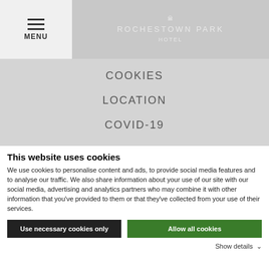MENU | ROCHESTOWN PARK
COOKIES
LOCATION
COVID-19
This website uses cookies
We use cookies to personalise content and ads, to provide social media features and to analyse our traffic. We also share information about your use of our site with our social media, advertising and analytics partners who may combine it with other information that you've provided to them or that they've collected from your use of their services.
Use necessary cookies only | Allow all cookies
Show details